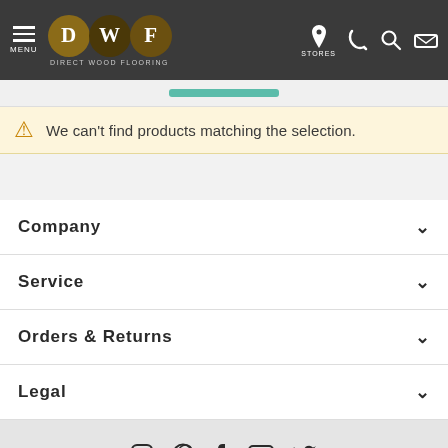DWF Direct Wood Flooring — MENU, STORES
We can't find products matching the selection.
Company
Service
Orders & Returns
Legal
Social icons: Instagram, Pinterest, Facebook, YouTube, Twitter